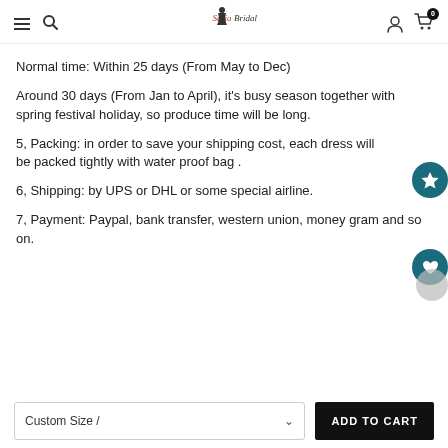SeriaBridal website header with hamburger menu, search, logo, user icon, cart (0)
Normal time: Within 25 days (From May to Dec)
Around 30 days (From Jan to April), it's busy season together with spring festival holiday, so produce time will be long.
5, Packing: in order to save your shipping cost, each dress will be packed tightly with water proof bag .
6, Shipping: by UPS or DHL or some special airline.
7, Payment: Paypal, bank transfer, western union, money gram and so on.